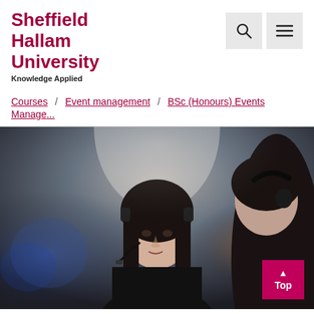Sheffield Hallam University
Knowledge Applied
Courses / Event management / BSc (Honours) Events Manage...
[Figure (photo): A young woman wearing a headset microphone at an event venue, communicating with a colleague also wearing a headset, with stage lighting in the background.]
▲ Top